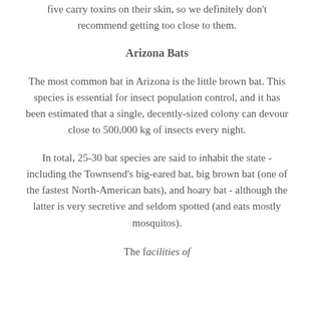five carry toxins on their skin, so we definitely don't recommend getting too close to them.
Arizona Bats
The most common bat in Arizona is the little brown bat. This species is essential for insect population control, and it has been estimated that a single, decently-sized colony can devour close to 500,000 kg of insects every night.
In total, 25-30 bat species are said to inhabit the state - including the Townsend's big-eared bat, big brown bat (one of the fastest North-American bats), and hoary bat - although the latter is very secretive and seldom spotted (and eats mostly mosquitos).
The facilities of...